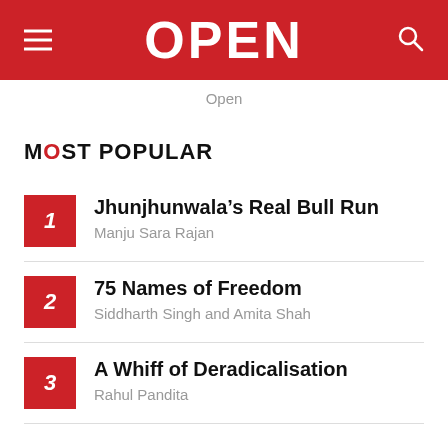OPEN
Open
MOST POPULAR
Jhunjhunwala’s Real Bull Run
Manju Sara Rajan
75 Names of Freedom
Siddharth Singh and Amita Shah
A Whiff of Deradicalisation
Rahul Pandita